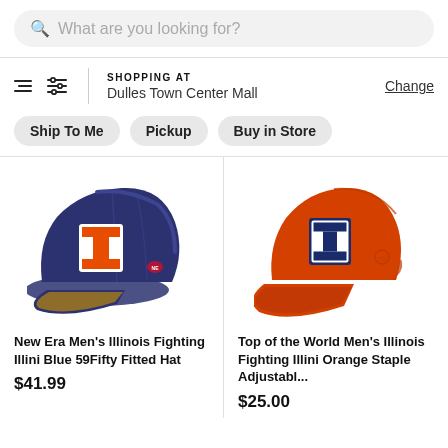What are you looking for?
SHOPPING AT
Dulles Town Center Mall
Change
Ship To Me
Pickup
Buy in Store
[Figure (photo): Navy blue New Era fitted baseball cap with orange Illinois Fighting Illini 'I' logo on front]
[Figure (photo): Orange adjustable baseball cap with navy blue Illinois Fighting Illini 'I' logo on front]
New Era Men's Illinois Fighting Illini Blue 59Fifty Fitted Hat
$41.99
Top of the World Men's Illinois Fighting Illini Orange Staple Adjustabl...
$25.00